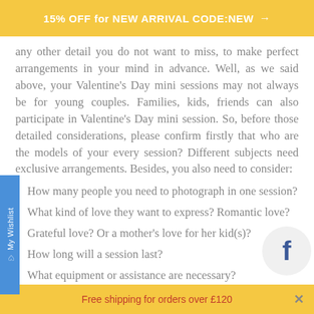15% OFF for NEW ARRIVAL CODE:NEW →
any other detail you do not want to miss, to make perfect arrangements in your mind in advance. Well, as we said above, your Valentine's Day mini sessions may not always be for young couples. Families, kids, friends can also participate in Valentine's Day mini session. So, before those detailed considerations, please confirm firstly that who are the models of your every session? Different subjects need exclusive arrangements. Besides, you also need to consider:
How many people you need to photograph in one session?
What kind of love they want to express? Romantic love?
Grateful love? Or a mother's love for her kid(s)?
How long will a session last?
What equipment or assistance are necessary?
Free shipping for orders over £120